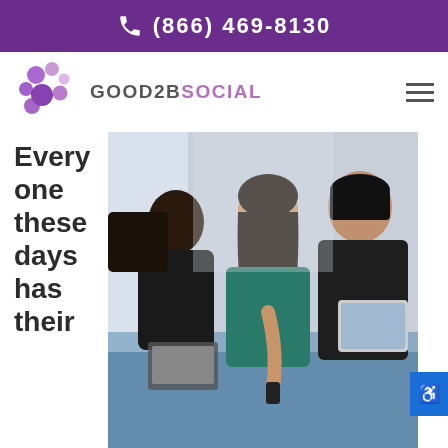(866) 469-8130
[Figure (logo): Good2BSocial logo with purple bubble graphic and company name]
Every one these days has their
[Figure (photo): Three young people looking at smartphones and tablets in a group setting]
This website stores cookies on your computer. These cookies are used to collect information about how you interact with our website and allow us to remember you. We use this information in order to improve and customize your browsing experience and for analytics and metrics about our visitors both on this website and other media. To find out more about the cookies we use, see our Privacy Policy.
Accept